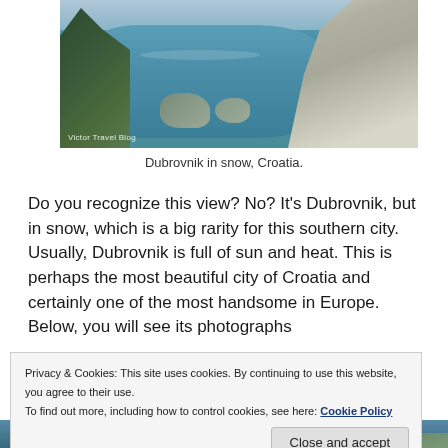[Figure (photo): Aerial or elevated view of Dubrovnik coastline covered in snow, showing rocky cliffs, turquoise sea water, and snow-dusted vegetation. Watermark reads 'Victor Travel Blog'.]
Dubrovnik in snow, Croatia.
Do you recognize this view? No? It’s Dubrovnik, but in snow, which is a big rarity for this southern city. Usually, Dubrovnik is full of sun and heat. This is perhaps the most beautiful city of Croatia and certainly one of the most handsome in Europe. Below, you will see its photographs
Privacy & Cookies: This site uses cookies. By continuing to use this website, you agree to their use.
To find out more, including how to control cookies, see here: Cookie Policy
[Figure (photo): Partial view of Dubrovnik coastline from below, showing sea and hillside.]